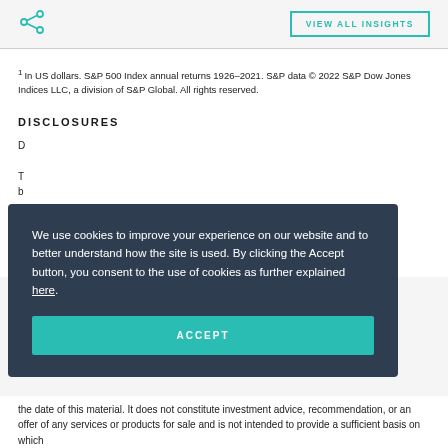VIEW ALL INSIGHTS
1 In US dollars. S&P 500 Index annual returns 1926–2021. S&P data © 2022 S&P Dow Jones Indices LLC, a division of S&P Global. All rights reserved.
DISCLOSURES
We use cookies to improve your experience on our website and to better understand how the site is used. By clicking the Accept button, you consent to the use of cookies as further explained here.
ACCEPT
the date of this material. It does not constitute investment advice, recommendation, or an offer of any services or products for sale and is not intended to provide a sufficient basis on which